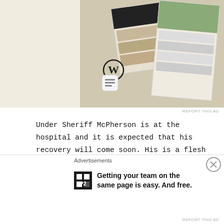[Figure (screenshot): WordPress advertisement banner showing a mobile food app with food imagery and WordPress logo]
Under Sheriff McPherson is at the hospital and it is expected that his recovery will come soon. His is a flesh wound and no trouble is anticipated. Graham's wound was slight and there seems no danger in his case.
Coroner Holds Inquest
[Figure (screenshot): P2 WordPress advertisement: 'Getting your team on the same page is easy. And free.']